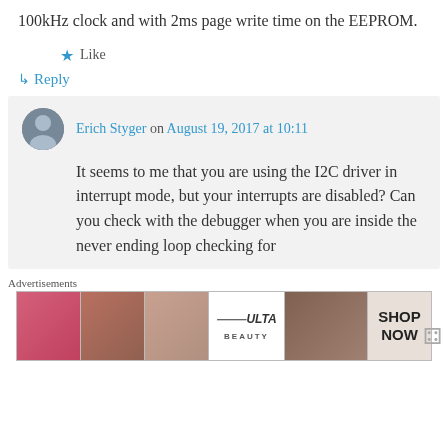100kHz clock and with 2ms page write time on the EEPROM.
★ Like
↳ Reply
Erich Styger on August 19, 2017 at 10:11
It seems to me that you are using the I2C driver in interrupt mode, but your interrupts are disabled? Can you check with the debugger when you are inside the never ending loop checking for
Advertisements
[Figure (other): Ulta Beauty advertisement banner with makeup imagery and SHOP NOW button]